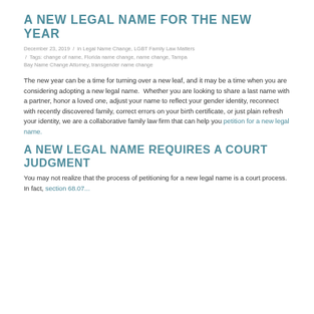A NEW LEGAL NAME FOR THE NEW YEAR
December 23, 2019 / in Legal Name Change, LGBT Family Law Matters / Tags: change of name, Florida name change, name change, Tampa Bay Name Change Attorney, transgender name change
The new year can be a time for turning over a new leaf, and it may be a time when you are considering adopting a new legal name. Whether you are looking to share a last name with a partner, honor a loved one, adjust your name to reflect your gender identity, reconnect with recently discovered family, correct errors on your birth certificate, or just plain refresh your identity, we are a collaborative family law firm that can help you petition for a new legal name.
A NEW LEGAL NAME REQUIRES A COURT JUDGMENT
You may not realize that the process of petitioning for a new legal name is a court process. In fact, section 68.07...